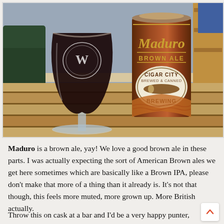[Figure (photo): Photo of a Cigar City Brewing Maduro Brown Ale can next to a dark beer poured into a tulip/goblet glass with a W emblem, both sitting on a wooden slat table. Background shows a green sofa and wooden shelving.]
Maduro is a brown ale, yay! We love a good brown ale in these parts. I was actually expecting the sort of American Brown ales we get here sometimes which are basically like a Brown IPA, please don't make that more of a thing than it already is. It's not that though, this feels more muted, more grown up. More British actually.
Throw this on cask at a bar and I'd be a very happy punter, especially